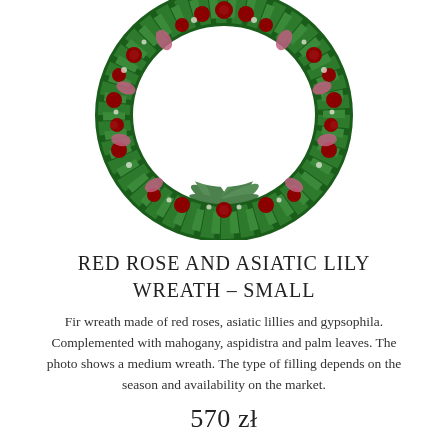[Figure (photo): A large floral funeral wreath made of red roses, asiatic lilies, gypsophila, mahogany, aspidistra and palm leaves, displayed on a stand against a white background.]
RED ROSE AND ASIATIC LILY WREATH – SMALL
Fir wreath made of red roses, asiatic lillies and gypsophila. Complemented with mahogany, aspidistra and palm leaves. The photo shows a medium wreath. The type of filling depends on the season and availability on the market.
570 zł